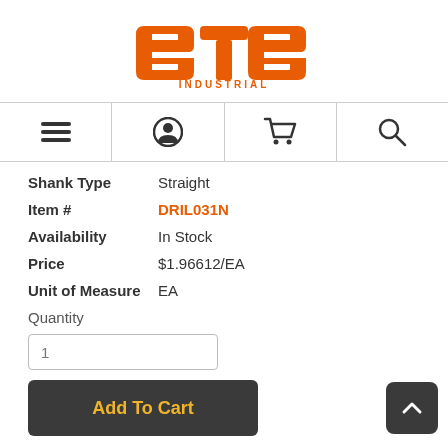[Figure (logo): STS Industrial logo in orange with stylized S, T, S letters and INDUSTRIAL text below]
[Figure (infographic): Navigation bar with four icons: hamburger menu, user/account icon, shopping cart icon, search magnifier icon]
Shank Type   Straight
Item #   DRIL031N
Availability   In Stock
Price   $1.96612/EA
Unit of Measure   EA
Quantity
1
Add To Cart